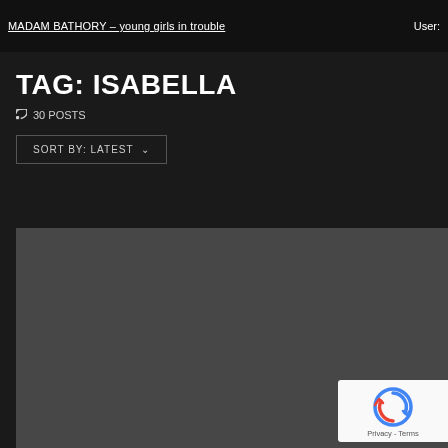MADAM BATHORY – young girls in trouble   User:
TAG: ISABELLA
30 POSTS
SORT BY: LATEST
[Figure (photo): Dark grey placeholder image area below the sort controls]
[Figure (logo): Google reCAPTCHA badge with circular arrow logo and Privacy - Terms text]